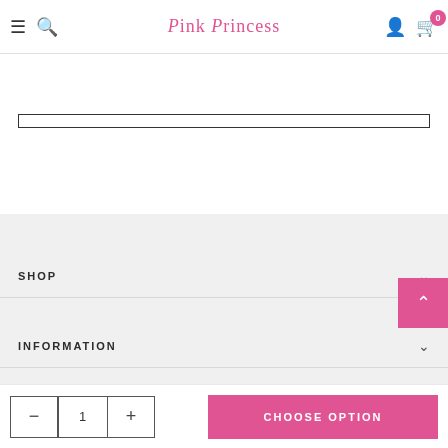Pink Princess
SHOP
INFORMATION
SHIPPING & RETURNS
STAY CONNECTED
CHOOSE OPTION